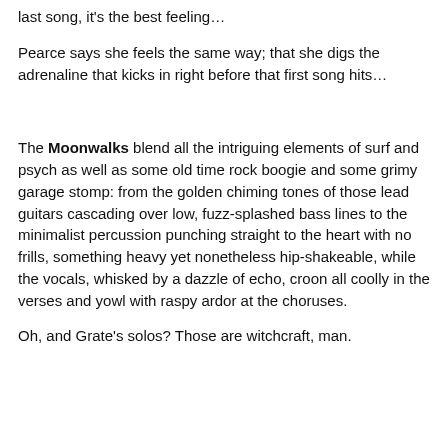last song, it's the best feeling…
Pearce says she feels the same way; that she digs the adrenaline that kicks in right before that first song hits…
The Moonwalks blend all the intriguing elements of surf and psych as well as some old time rock boogie and some grimy garage stomp: from the golden chiming tones of those lead guitars cascading over low, fuzz-splashed bass lines to the minimalist percussion punching straight to the heart with no frills, something heavy yet nonetheless hip-shakeable, while the vocals, whisked by a dazzle of echo, croon all coolly in the verses and yowl with raspy ardor at the choruses.
Oh, and Grate's solos? Those are witchcraft, man.